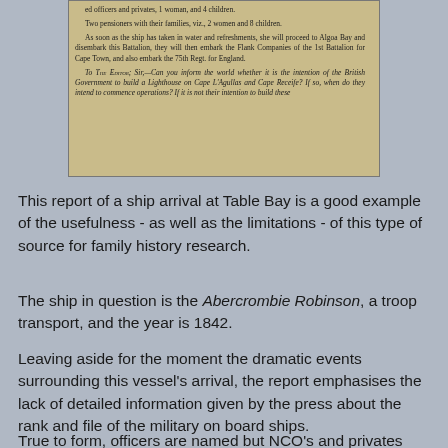[Figure (photo): A scanned newspaper clipping showing a report about a ship arrival at Table Bay, mentioning officers and privates, women and children, pensioners, Algoa Bay, 1st Battalion, 75th Regiment, and a letter to the Editor about a lighthouse on Cape L'Agullas and Cape Receife.]
This report of a ship arrival at Table Bay is a good example of the usefulness - as well as the limitations - of this type of source for family history research.
The ship in question is the Abercrombie Robinson, a troop transport, and the year is 1842.
Leaving aside for the moment the dramatic events surrounding this vessel's arrival, the report emphasises the lack of detailed information given by the press about the rank and file of the military on board ships.
True to form, officers are named but NCO's and privates are...